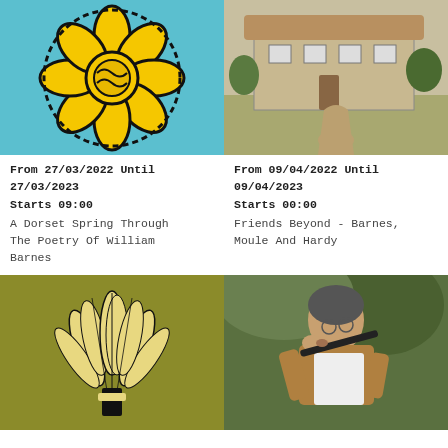[Figure (illustration): Yellow flower / sun illustration on cyan/turquoise background]
[Figure (photo): Old stone farmhouse or manor with thatched roof and garden path]
From 27/03/2022 Until 27/03/2023
Starts 09:00
A Dorset Spring Through The Poetry Of William Barnes
From 09/04/2022 Until 09/04/2023
Starts 00:00
Friends Beyond - Barnes, Moule And Hardy
[Figure (illustration): Black and cream wheatsheaf illustration on olive/dark yellow background]
[Figure (photo): Person playing a flute/recorder outdoors with green foliage background]